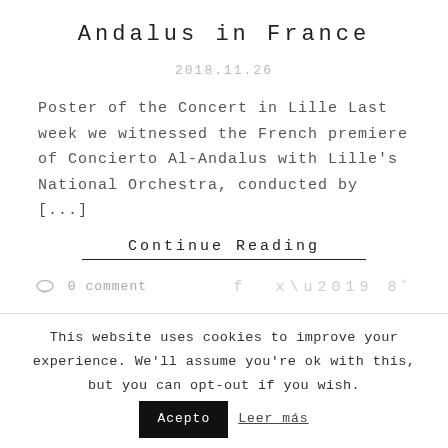Andalus in France
2018.11.26
Poster of the Concert in Lille Last week we witnessed the French premiere of Concierto Al-Andalus with Lille's National Orchestra, conducted by [...]
Continue Reading
0 comment
This website uses cookies to improve your experience. We'll assume you're ok with this, but you can opt-out if you wish. Acepto Leer más